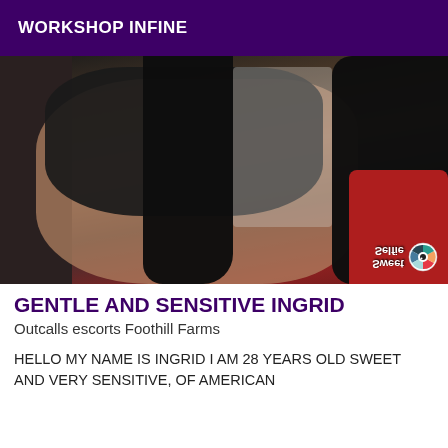WORKSHOP INFINE
[Figure (photo): Photo of a woman with dark hair wearing a black outfit, with a mirror reflection visible. A red item is in the lower right. Sweet Selfie watermark visible in bottom right corner.]
GENTLE AND SENSITIVE INGRID
Outcalls escorts Foothill Farms
HELLO MY NAME IS INGRID I AM 28 YEARS OLD SWEET AND VERY SENSITIVE, OF AMERICAN